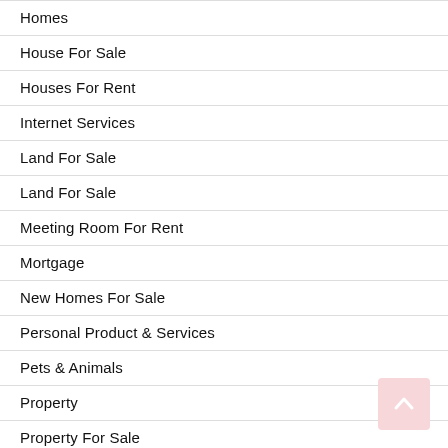Homes
House For Sale
Houses For Rent
Internet Services
Land For Sale
Land For Sale
Meeting Room For Rent
Mortgage
New Homes For Sale
Personal Product & Services
Pets & Animals
Property
Property For Sale